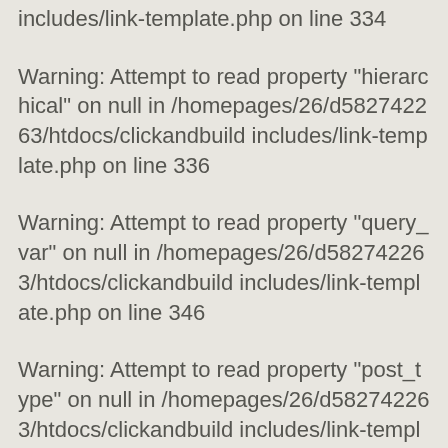includes/link-template.php on line 334
Warning: Attempt to read property "hierarchical" on null in /homepages/26/d582742263/htdocs/clickandbuild includes/link-template.php on line 336
Warning: Attempt to read property "query_var" on null in /homepages/26/d582742263/htdocs/clickandbuild includes/link-template.php on line 346
Warning: Attempt to read property "post_type" on null in /homepages/26/d582742263/htdocs/clickandbuild includes/link-template.php on line 351